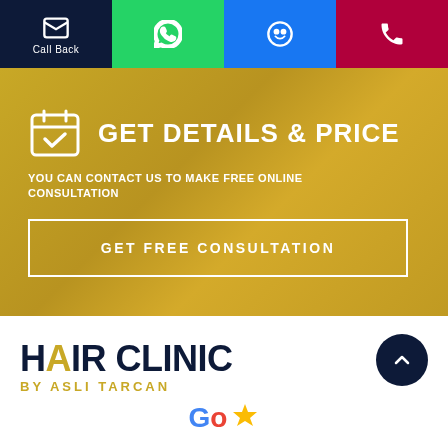Call Back | WhatsApp | Messenger | Phone
[Figure (infographic): Gold banner with calendar icon, GET DETAILS & PRICE heading, subtitle about free online consultation, and a GET FREE CONSULTATION button]
[Figure (logo): Hair Clinic by Asli Tarcan logo with dark navy text and gold accent, Google rating icon below]